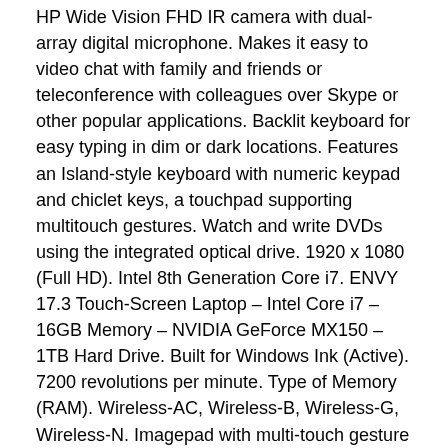HP Wide Vision FHD IR camera with dual-array digital microphone. Makes it easy to video chat with family and friends or teleconference with colleagues over Skype or other popular applications. Backlit keyboard for easy typing in dim or dark locations. Features an Island-style keyboard with numeric keypad and chiclet keys, a touchpad supporting multitouch gestures. Watch and write DVDs using the integrated optical drive. 1920 x 1080 (Full HD). Intel 8th Generation Core i7. ENVY 17.3 Touch-Screen Laptop – Intel Core i7 – 16GB Memory – NVIDIA GeForce MX150 – 1TB Hard Drive. Built for Windows Ink (Active). 7200 revolutions per minute. Type of Memory (RAM). Wireless-AC, Wireless-B, Wireless-G, Wireless-N. Imagepad with multi-touch gesture support. Bang & Olufsen with dual speakers. Kensington Security Slot (K-Slot). The item “HUGE 17.3 FHD IPS TOUCH SCREEN HP ENVY 17M-AE i7-8550U 16GB RAM 1TB HDMI NVIDIA” is in sale since Thursday, October 21, 2021. This item is in the category “Computers/Tablets & Networking\Laptops & Netbooks\PC Laptops & Netbooks”. The seller is “netsalesnc” and is located in Raleigh, North Carolina. This item can be shipped to United States, Canada, United Kingdom, Denmark,